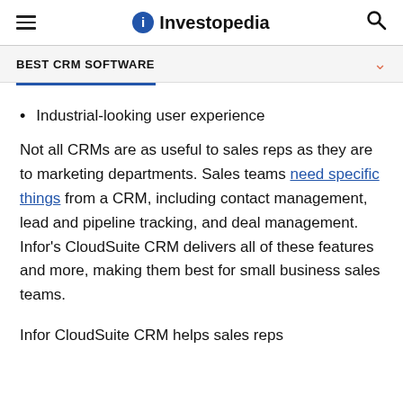Investopedia
BEST CRM SOFTWARE
Industrial-looking user experience
Not all CRMs are as useful to sales reps as they are to marketing departments. Sales teams need specific things from a CRM, including contact management, lead and pipeline tracking, and deal management. Infor's CloudSuite CRM delivers all of these features and more, making them best for small business sales teams.
Infor CloudSuite CRM helps sales reps